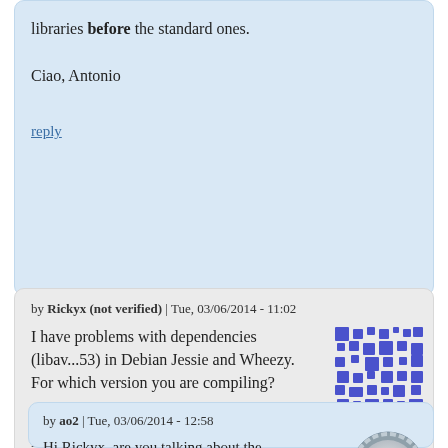libraries before the standard ones.

Ciao, Antonio
reply
by Rickyx (not verified) | Tue, 03/06/2014 - 11:02
I have problems with dependencies (libav...53) in Debian Jessie and Wheezy. For which version you are compiling?

Thank you,
Rickyx
[Figure (illustration): Blue pixelated/mosaic avatar icon for user Rickyx]
reply
by ao2 | Tue, 03/06/2014 - 12:58
Hi Rickyx, are you talking about the debian packages at http://ao2.it/debian or
[Figure (illustration): Circular grey avatar icon for user ao2]